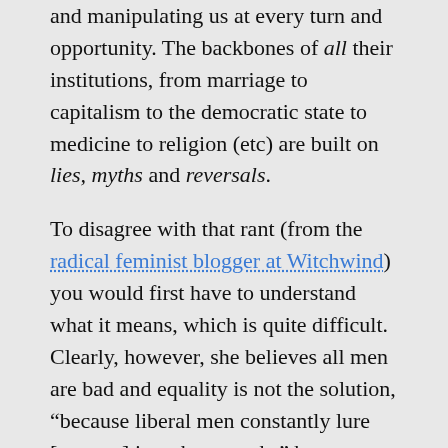and manipulating us at every turn and opportunity. The backbones of all their institutions, from marriage to capitalism to the democratic state to medicine to religion (etc) are built on lies, myths and reversals.
To disagree with that rant (from the radical feminist blogger at Witchwind) you would first have to understand what it means, which is quite difficult. Clearly, however, she believes all men are bad and equality is not the solution, "because liberal men constantly lure [women] into these myths" by "mimicking feminist discourse" — and at least no one can ever accuse me of that.
Yet as a summary of the feminist belief that all women are oppressed and that all men "maintain this oppression . . . with the use of force," Witchwind's rant